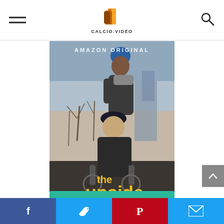CALCIO.VIDEO
[Figure (photo): Movie poster for 'The Upside' (Amazon Original). Shows two men — one standing pushing a wheelchair, wearing a blue beanie and hoodie, and one seated in a wheelchair wearing a dark cap and coat — in a wintry park setting. Yellow text at bottom reads 'the upside'. Top text reads 'AMAZON ORIGINAL'.]
The Upside